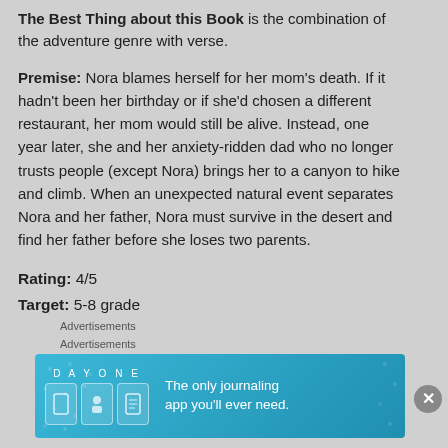The Best Thing about this Book is the combination of the adventure genre with verse.
Premise: Nora blames herself for her mom's death. If it hadn't been her birthday or if she'd chosen a different restaurant, her mom would still be alive. Instead, one year later, she and her anxiety-ridden dad who no longer trusts people (except Nora) brings her to a canyon to hike and climb. When an unexpected natural event separates Nora and her father, Nora must survive in the desert and find her father before she loses two parents.
Rating: 4/5
Target: 5-8 grade
Advertisements
Advertisements
[Figure (infographic): Day One journaling app advertisement banner with blue background, icons and text: The only journaling app you'll ever need.]